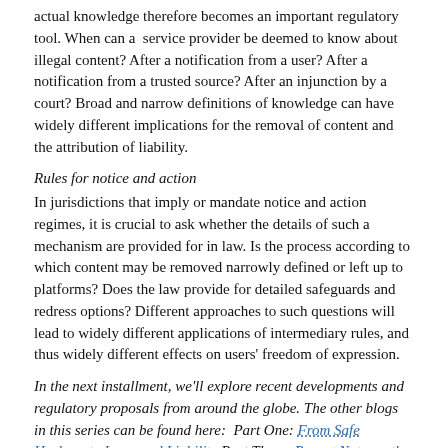actual knowledge therefore becomes an important regulatory tool. When can a  service provider be deemed to know about illegal content? After a notification from a user? After a notification from a trusted source? After an injunction by a court? Broad and narrow definitions of knowledge can have widely different implications for the removal of content and the attribution of liability.
Rules for notice and action
In jurisdictions that imply or mandate notice and action regimes, it is crucial to ask whether the details of such a mechanism are provided for in law. Is the process according to which content may be removed narrowly defined or left up to platforms? Does the law provide for detailed safeguards and redress options? Different approaches to such questions will lead to widely different applications of intermediary rules, and thus widely different effects on users' freedom of expression.
In the next installment, we'll explore recent developments and regulatory proposals from around the globe. The other blogs in this series can be found here:  Part One: From Safe Harbors to Increased Liability Part Three: Recent Noteworthy DevelopmentsPart Four:  Moving Forward
Christoph Schmon